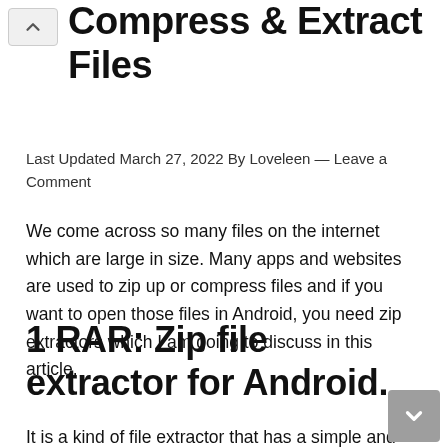Compress & Extract Files
Last Updated March 27, 2022 By Loveleen — Leave a Comment
We come across so many files on the internet which are large in size. Many apps and websites are used to zip up or compress files and if you want to open those files in Android, you need zip extractors which I am going to discuss in this article.
1 RAR: Zip file extractor for Android.
It is a kind of file extractor that has a simple and clean